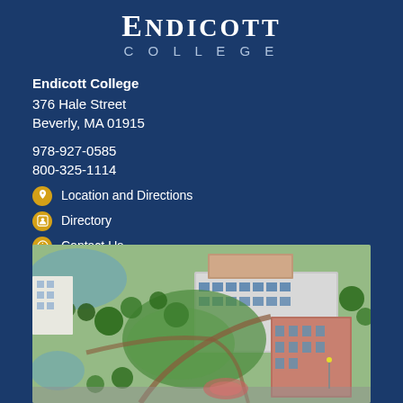[Figure (logo): Endicott College logo with serif text 'ENDICOTT' and smaller 'COLLEGE' beneath]
Endicott College
376 Hale Street
Beverly, MA 01915

978-927-0585
800-325-1114
Location and Directions
Directory
Contact Us
[Figure (illustration): Aerial illustration/rendering of Endicott College campus showing buildings, green lawns, trees, pathways, and a pond]